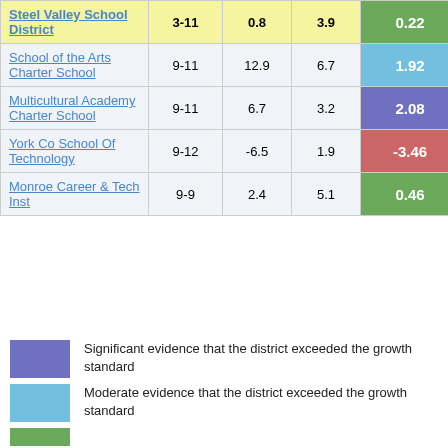| School | Grades | Col3 | Col4 | Score |  |
| --- | --- | --- | --- | --- | --- |
| Steel Valley School District | 3-11 | 0.8 | 3.9 | 0.22 |  |
| [School of the Arts Charter School] | 9-11 | 12.9 | 6.7 | 1.92 |  |
| Multicultural Academy Charter School | 9-11 | 6.7 | 3.2 | 2.08 |  |
| York Co School Of Technology | 9-12 | -6.5 | 1.9 | -3.46 |  |
| Monroe Career & Tech Inst | 9-9 | 2.4 | 5.1 | 0.46 |  |
Significant evidence that the district exceeded the growth standard
Moderate evidence that the district exceeded the growth standard